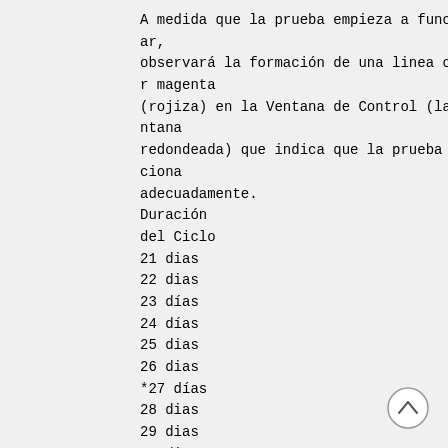A medida que la prueba empieza a funcionar,
observará la formación de una linea color magenta
(rojiza) en la Ventana de Control (la ventana
redondeada) que indica que la prueba funciona
adecuadamente.
Duración
del Ciclo
21 dias
22 dias
23 días
24 días
25 dias
26 dias
*27 días
28 dias
29 dias
30 dias
Dia del Ciclo
para comenzar
la Prueba